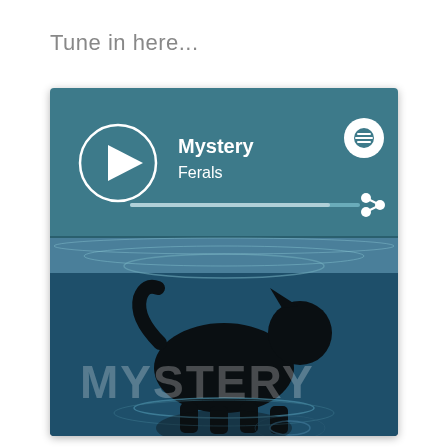Tune in here...
[Figure (screenshot): Spotify music player widget showing a song called 'Mystery' by 'Ferals'. The widget has a teal/dark blue header with a circular play button on the left, the song title 'Mystery' in bold white text and artist name 'Ferals' below it, a Spotify logo icon in the top right, a progress bar, and a share icon. Below the header is album artwork showing a dog silhouette standing in water with ripples, and large semi-transparent text 'MYSTERY' overlaid on the image.]